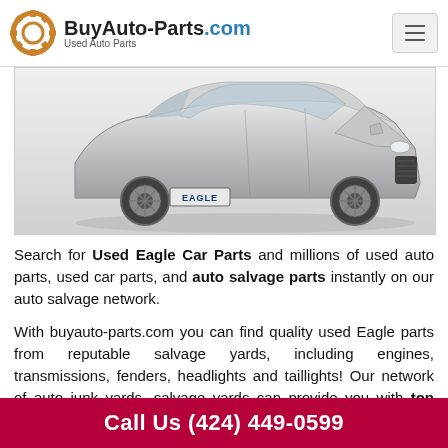BuyAuto-Parts.com Used Auto Parts
[Figure (photo): Silver Eagle-branded car (Peugeot 207 style) on white background, front three-quarter view, with EAGLE license plate]
Search for Used Eagle Car Parts and millions of used auto parts, used car parts, and auto salvage parts instantly on our auto salvage network.
With buyauto-parts.com you can find quality used Eagle parts from reputable salvage yards, including engines, transmissions, fenders, headlights and taillights! Our network of auto junk yards, salvage yards can provide you with top quality used Eagle parts for virtually
Call Us (424) 449-0599